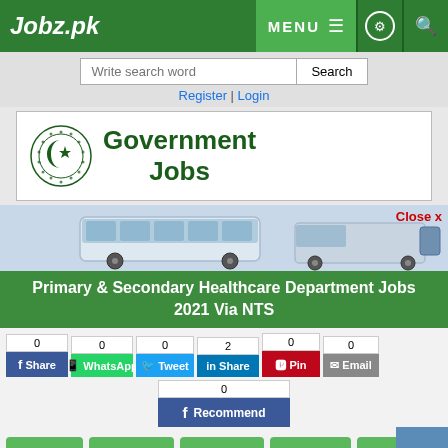Jobz.pk
Write search word | Search | Register | Login
[Figure (logo): Government Jobs banner with Pakistan emblem and green text reading Government Jobs]
[Figure (photo): Advertisement banner showing buses and trucks. Close x button visible.]
Primary & Secondary Healthcare Department Jobs 2021 Via NTS
Social share buttons: Share 0, WhatsApp 0, Tweet 0, Share 2, Pin 0, Email 0, Recommend 0
Action buttons: Job Closed, Form, Save, Comment, Print